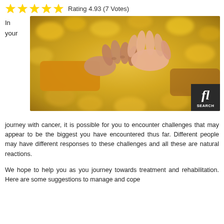[Figure (other): Five yellow star rating icons followed by text 'Rating 4.93 (7 Votes)']
In
your
[Figure (photo): Photo of two pairs of hands clasped together, one older wearing a yellow sleeve, set against a blurred autumn leaves background. A dark search badge is in the bottom right corner with a stylized 'fl' icon and the word SEARCH.]
journey with cancer, it is possible for you to encounter challenges that may appear to be the biggest you have encountered thus far. Different people may have different responses to these challenges and all these are natural reactions.

We hope to help you as you journey towards treatment and rehabilitation. Here are some suggestions to manage and cope